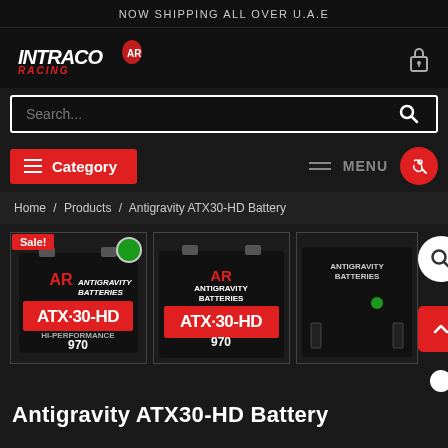NOW SHIPPING ALL OVER U.A.E
[Figure (logo): Intraco Racing logo in italic stylized font]
Search...
≡ Category  ≡ MENU
Home / Products / Antigravity ATX30-HD Battery
[Figure (photo): Sale! badge on Antigravity ATX30-HD Battery product images - three views of a black battery with red ATX-30-HD branding and 970 label]
Antigravity ATX30-HD Battery